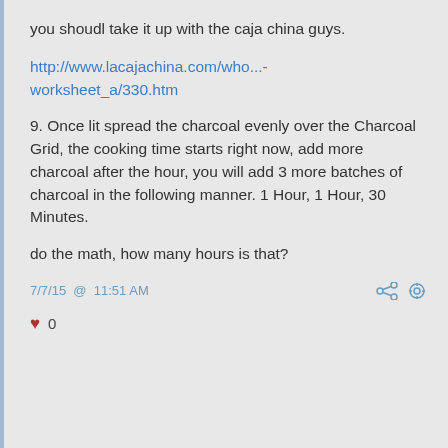you shoudl take it up with the caja china guys.
http://www.lacajachina.com/who...-worksheet_a/330.htm
9. Once lit spread the charcoal evenly over the Charcoal Grid, the cooking time starts right now, add more charcoal after the hour, you will add 3 more batches of charcoal in the following manner. 1 Hour, 1 Hour, 30 Minutes.
do the math, how many hours is that?
7/7/15 @ 11:51 AM
0